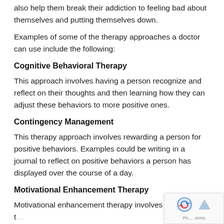also help them break their addiction to feeling bad about themselves and putting themselves down.
Examples of some of the therapy approaches a doctor can use include the following:
Cognitive Behavioral Therapy
This approach involves having a person recognize and reflect on their thoughts and then learning how they can adjust these behaviors to more positive ones.
Contingency Management
This therapy approach involves rewarding a person for positive behaviors. Examples could be writing in a journal to reflect on positive behaviors a person has displayed over the course of a day.
Motivational Enhancement Therapy
Motivational enhancement therapy involves a therapist t… with a person to help them find their personal motivations to